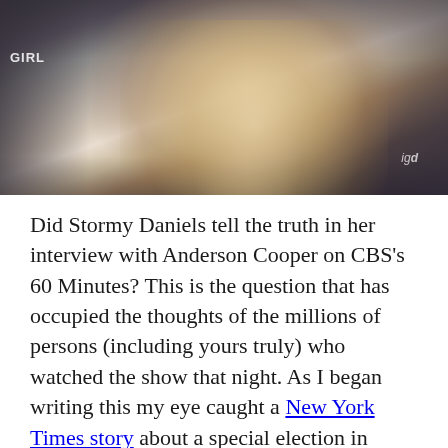[Figure (photo): Photo of Stormy Daniels, a blonde woman wearing a white outfit and jewelry, at what appears to be an event with signage in the background including 'GIRL' and 'ig' logos.]
Did Stormy Daniels tell the truth in her interview with Anderson Cooper on CBS's 60 Minutes? This is the question that has occupied the thoughts of the millions of persons (including yours truly) who watched the show that night. As I began writing this my eye caught a New York Times story about a special election in Arizona that is dominated by whether or not voters believe Stormy